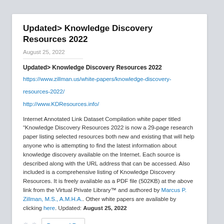Updated> Knowledge Discovery Resources 2022
August 25, 2022
Updated> Knowledge Discovery Resources 2022
https://www.zillman.us/white-papers/knowledge-discovery-resources-2022/
http://www.KDResources.info/
Internet Annotated Link Dataset Compilation white paper titled “Knowledge Discovery Resources 2022 is now a 29-page research paper listing selected resources both new and existing that will help anyone who is attempting to find the latest information about knowledge discovery available on the Internet. Each source is described along with the URL address that can be accessed. Also included is a comprehensive listing of Knowledge Discovery Resources. It is freely available as a PDF file (502KB) at the above link from the Virtual Private Library™ and authored by Marcus P. Zillman, M.S., A.M.H.A.. Other white papers are available by clicking here. Updated: August 25, 2022
Powered By